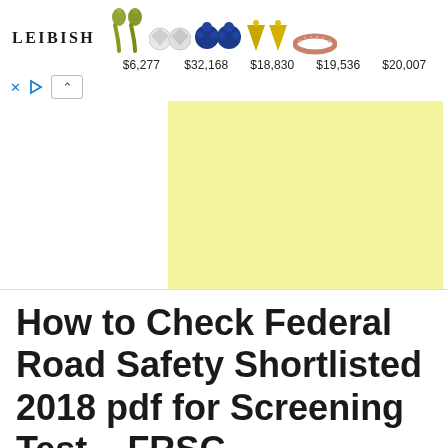[Figure (screenshot): Advertisement banner from LEIBISH jewelry showing 5 jewelry items (olive drop earrings, diamond studs, blue sapphire earrings, yellow triangle earrings, rose gold ring) with prices $6,277 $32,168 $18,830 $19,536 $20,007, with close (x) and play controls, and a yellow ad block below]
How to Check Federal Road Safety Shortlisted 2018 pdf for Screening Test – FRSC